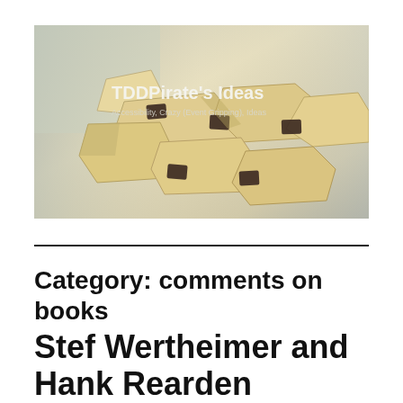[Figure (photo): Blog header image for TDDPirate's Ideas showing abstract wooden or cardboard interlocking pieces in cream/beige color with dark connectors, with overlay text reading 'TDDPirate's Ideas' and subtitle 'Accessibility, Crazy (Event Gripping), Ideas']
Category: comments on books
Stef Wertheimer and Hank Rearden